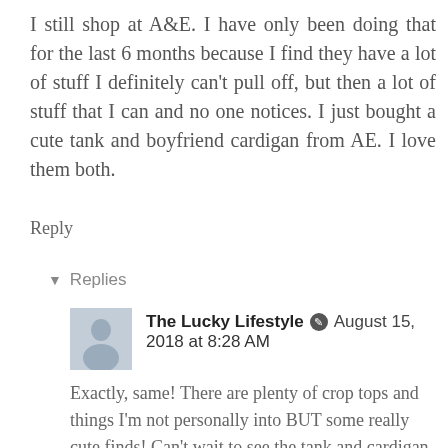I still shop at A&E. I have only been doing that for the last 6 months because I find they have a lot of stuff I definitely can't pull off, but then a lot of stuff that I can and no one notices. I just bought a cute tank and boyfriend cardigan from AE. I love them both.
Reply
▾ Replies
The Lucky Lifestyle ✎ August 15, 2018 at 8:28 AM
Exactly, same! There are plenty of crop tops and things I'm not personally into BUT some really cute finds! Can't wait to see the tank and cardigan :)